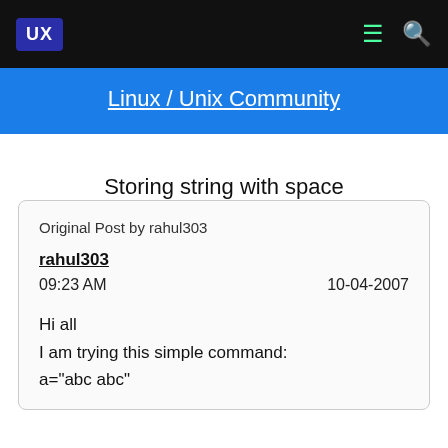UX | Linux / Unix Community
Storing string with space
Original Post by rahul303
rahul303
09:23 AM
10-04-2007

Hi all
I am trying this simple command:
a="abc abc"